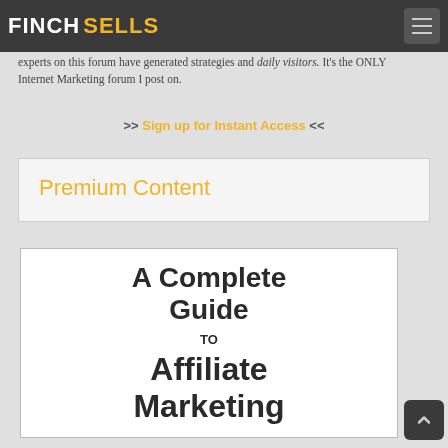Finch Sells
experts on this forum have generated strategies and daily visitors. It's the ONLY Internet Marketing forum I post on.
>> Sign up for Instant Access <<
Premium Content
[Figure (illustration): Book cover styled image with bold dark text reading: A Complete Guide TO Affiliate Marketing on white background]